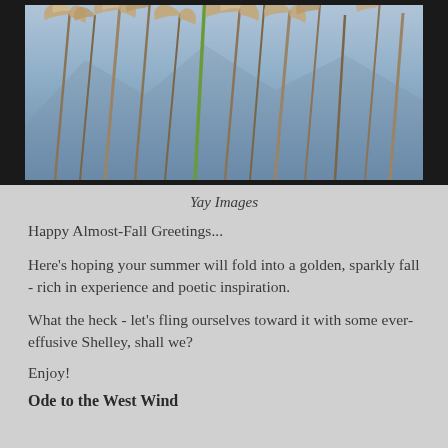[Figure (photo): Close-up photograph of tall golden-brown grasses or pampas grass with feathery plumes, against a blue-grey sky and mountain background]
Yay Images
Happy Almost-Fall Greetings...
Here's hoping your summer will fold into a golden, sparkly fall - rich in experience and poetic inspiration.
What the heck - let's fling ourselves toward it with some ever-effusive Shelley, shall we?
Enjoy!
Ode to the West Wind